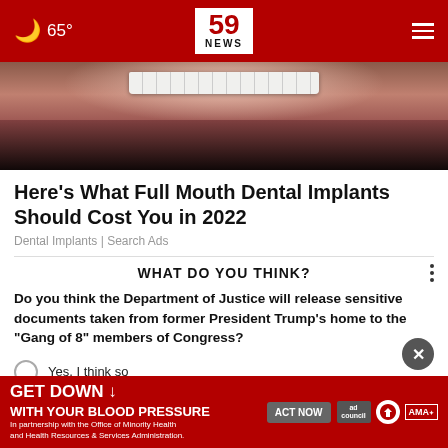65° | 59 NEWS
[Figure (photo): Close-up photo of a mouth with dental implants/teeth visible, skin texture around mouth area]
Here's What Full Mouth Dental Implants Should Cost You in 2022
Dental Implants | Search Ads
WHAT DO YOU THINK?
Do you think the Department of Justice will release sensitive documents taken from former President Trump's home to the "Gang of 8" members of Congress?
Yes, I think so
No
[Figure (infographic): GET DOWN WITH YOUR BLOOD PRESSURE advertisement banner in red with Act Now button, ad council logo, American Heart Association logo, and AMA logo]